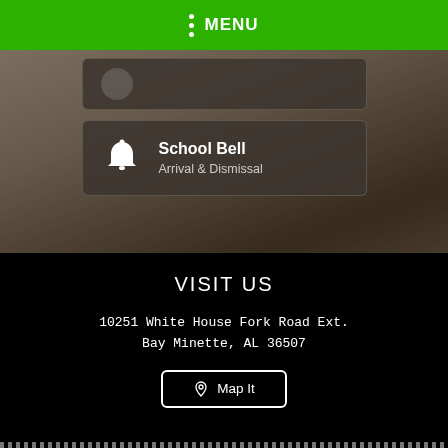MENU
[Figure (screenshot): Partial navigation card with bell icon, partially cut off at top]
School Bell
Arrival & Dismissal
VISIT US
10251 White House Fork Road Ext.
Bay Minette, AL 36507
Map It